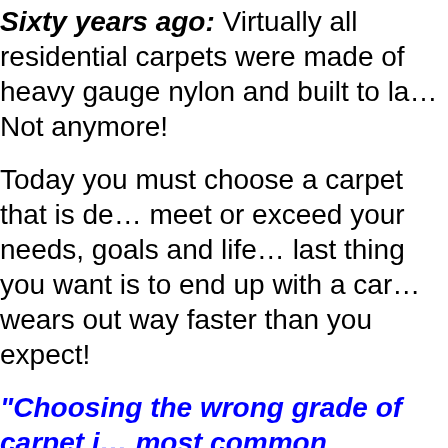Sixty years ago: Virtually all residential carpets were made of heavy gauge nylon and built to last. Not anymore!
Today you must choose a carpet that is designed to meet or exceed your needs, goals and lifestyle. The last thing you want is to end up with a carpet that wears out way faster than you expect!
"Choosing the wrong grade of carpet is one of the most common mistakes home...